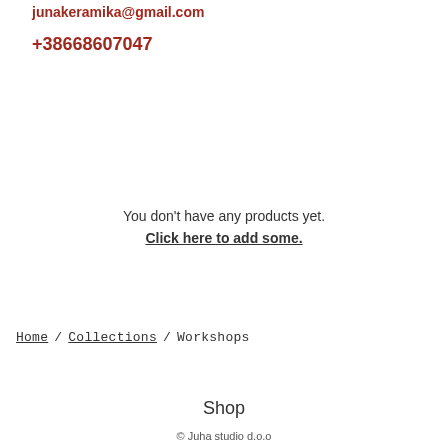junakeramika@gmail.com
+38668607047
You don't have any products yet. Click here to add some.
Home / Collections / Workshops
Shop
© Juha studio d.o.o